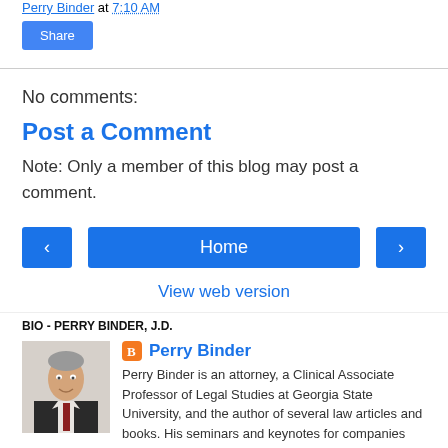Perry Binder at 7:10 AM
Share
No comments:
Post a Comment
Note: Only a member of this blog may post a comment.
‹ Home ›
View web version
BIO - PERRY BINDER, J.D.
[Figure (photo): Headshot photo of Perry Binder, a man in a suit with a tie.]
Perry Binder
Perry Binder is an attorney, a Clinical Associate Professor of Legal Studies at Georgia State University, and the author of several law articles and books. His seminars and keynotes for companies